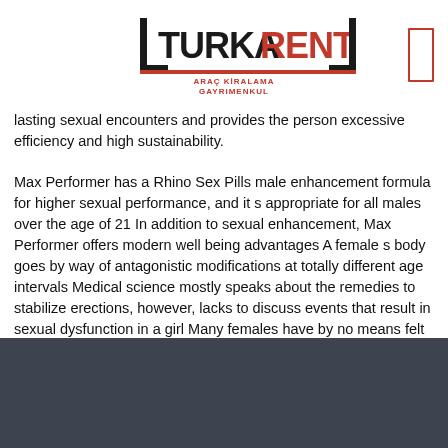[Figure (logo): TurkARENT logo with red and dark text, subtitle ARAÇ KİRALAMA GAYRIMENKUL]
lasting sexual encounters and provides the person excessive efficiency and high sustainability.
Max Performer has a Rhino Sex Pills male enhancement formula for higher sexual performance, and it s appropriate for all males over the age of 21 In addition to sexual enhancement, Max Performer offers modern well being advantages A female s body goes by way of antagonistic modifications at totally different age intervals Medical science mostly speaks about the remedies to stabilize erections, however, lacks to discuss events that result in sexual dysfunction in a girl Many females have by no means felt orgasms, nor do they know anything in regards to the libido hormone.